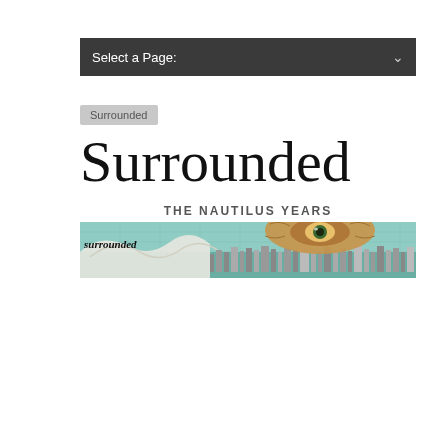Select a Page:
Surrounded
Surrounded
THE NAUTILUS YEARS
[Figure (illustration): Album art banner for 'Surrounded' showing a surreal scene with waves, a cityscape, and a large eye or creature overhead, with the word 'surrounded' in bold italic text on the left side. Teal, brown, and white color palette.]